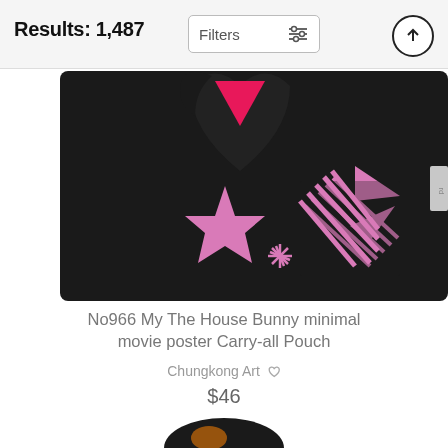Results: 1,487
Filters
[Figure (photo): Product photo of a carry-all pouch with black background featuring pink star, pink heart shape, pink triangles, and pink striped shooting star design. The House Bunny minimal movie poster artwork by Chungkong Art.]
No966 My The House Bunny minimal movie poster Carry-all Pouch
Chungkong Art
$46
[Figure (photo): Partial view of another product at the bottom of the page — dark product peek.]